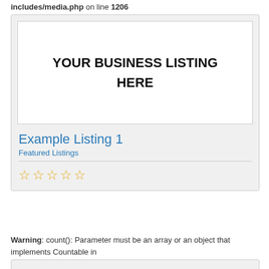includes/media.php on line 1206
[Figure (screenshot): A listing card with a white ad placeholder box showing 'YOUR BUSINESS LISTING HERE' in bold black text, followed by 'Example Listing 1' as a blue heading, 'Featured Listings' as a blue subtitle, a horizontal divider, and five empty gold star rating icons.]
Warning: count(): Parameter must be an array or an object that implements Countable in /home/nb1mob5/public_html/2b1njbusinessfinder.com/wp-includes/media.php on line 1206